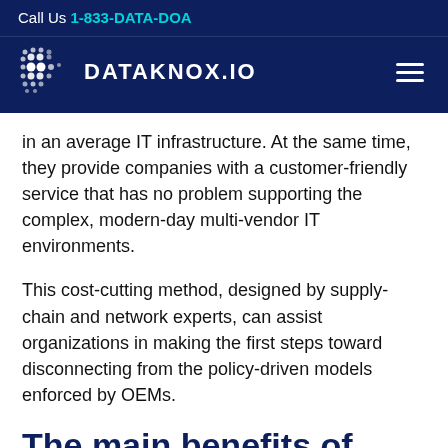Call Us 1-833-DATA-DOA
[Figure (logo): DataKnox.io logo with dot-matrix grid icon and navigation hamburger menu on dark navy background]
in an average IT infrastructure. At the same time, they provide companies with a customer-friendly service that has no problem supporting the complex, modern-day multi-vendor IT environments.
This cost-cutting method, designed by supply-chain and network experts, can assist organizations in making the first steps toward disconnecting from the policy-driven models enforced by OEMs.
The main benefits of